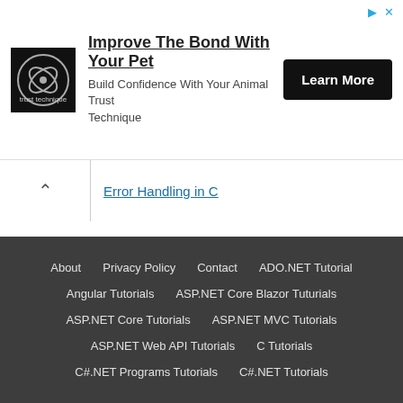[Figure (infographic): Advertisement banner: Trust Technique logo, text 'Improve The Bond With Your Pet', subtext 'Build Confidence With Your Animal Trust Technique', and a 'Learn More' button]
Error Handling in C
C – Interview
C Interview Questions and Answers
Popular C Books
Most Recommended C Books
About  Privacy Policy  Contact  ADO.NET Tutorial  Angular Tutorials  ASP.NET Core Blazor Tuturials  ASP.NET Core Tutorials  ASP.NET MVC Tutorials  ASP.NET Web API Tutorials  C Tutorials  C#.NET Programs Tutorials  C#.NET Tutorials